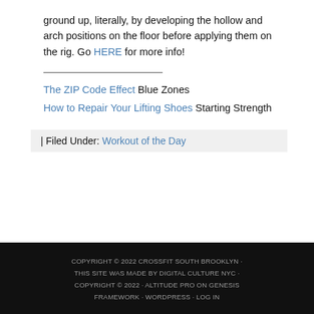ground up, literally, by developing the hollow and arch positions on the floor before applying them on the rig. Go HERE for more info!
The ZIP Code Effect Blue Zones
How to Repair Your Lifting Shoes Starting Strength
| Filed Under: Workout of the Day
COPYRIGHT © 2022 CROSSFIT SOUTH BROOKLYN · THIS SITE WAS MADE BY DIGITAL CULTURE NYC · COPYRIGHT © 2022 · ALTITUDE PRO ON GENESIS FRAMEWORK · WORDPRESS · LOG IN